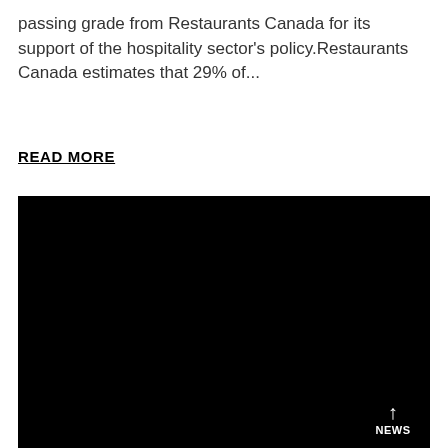passing grade from Restaurants Canada for its support of the hospitality sector's policy.Restaurants Canada estimates that 29% of...
READ MORE
[Figure (photo): Large black rectangle occupying the lower portion of the page, likely a video thumbnail or image placeholder. A 'NEWS' button with an upward arrow is visible in the bottom-right corner.]